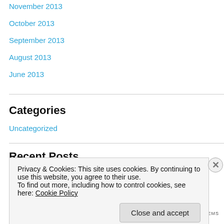November 2013
October 2013
September 2013
August 2013
June 2013
Categories
Uncategorized
Recent Posts
Privacy & Cookies: This site uses cookies. By continuing to use this website, you agree to their use.
To find out more, including how to control cookies, see here: Cookie Policy
Close and accept